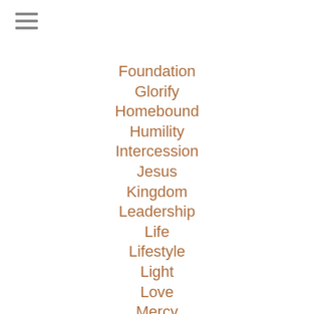[Figure (other): Hamburger menu icon (three horizontal lines)]
Foundation
Glorify
Homebound
Humility
Intercession
Jesus
Kingdom
Leadership
Life
Lifestyle
Light
Love
Mercy
Obedience
Praise
Prayer
Preparation
Redemption
Repentance
Resurrection